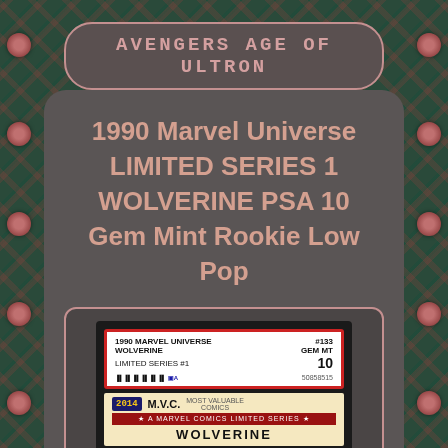AVENGERS AGE OF ULTRON
1990 Marvel Universe LIMITED SERIES 1 WOLVERINE PSA 10 Gem Mint Rookie Low Pop
[Figure (photo): PSA graded card slab showing 1990 Marvel Universe #133 Wolverine Limited Series #1, graded GEM MT 10, cert number 50858515, with the trading card visible showing M.V.C. Most Valuable Comics badge and Wolverine card artwork]